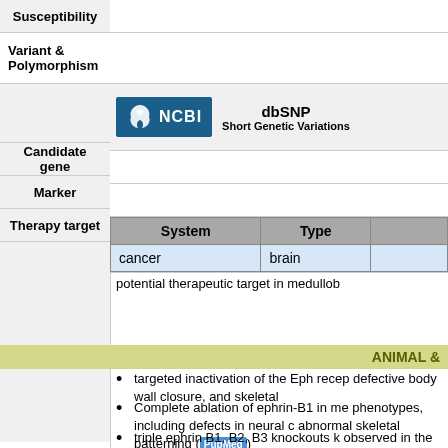| Susceptibility |
| --- |
| Variant & Polymorphism |
| Candidate gene |
| Marker |
| Therapy target |
[Figure (logo): NCBI dbSNP Short Genetic Variations logo]
| System | Type |
| --- | --- |
| cancer | brain |
potential therapeutic target in medullob
ANIMAL &
targeted inactivation of the Eph recep defective body wall closure, and skeletal
Complete ablation of ephrin-B1 in me phenotypes, including defects in neural c abnormal skeletal patterning (PubMed)
triple ephrin B1, B2, B3 knockouts k observed in the neocortex, hippocampus
EfnB1 mRNA and protein levels were reduction was mainly observed in mature